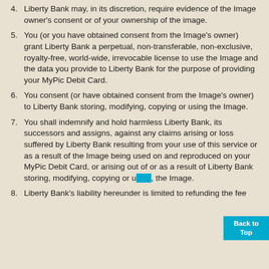4. Liberty Bank may, in its discretion, require evidence of the Image owner's consent or of your ownership of the image.
5. You (or you have obtained consent from the Image's owner) grant Liberty Bank a perpetual, non-transferable, non-exclusive, royalty-free, world-wide, irrevocable license to use the Image and the data you provide to Liberty Bank for the purpose of providing your MyPic Debit Card.
6. You consent (or have obtained consent from the Image's owner) to Liberty Bank storing, modifying, copying or using the Image.
7. You shall indemnify and hold harmless Liberty Bank, its successors and assigns, against any claims arising or loss suffered by Liberty Bank resulting from your use of this service or as a result of the Image being used on and reproduced on your MyPic Debit Card, or arising out of or as a result of Liberty Bank storing, modifying, copying or using the Image.
8. Liberty Bank's liability hereunder is limited to refunding the fee...